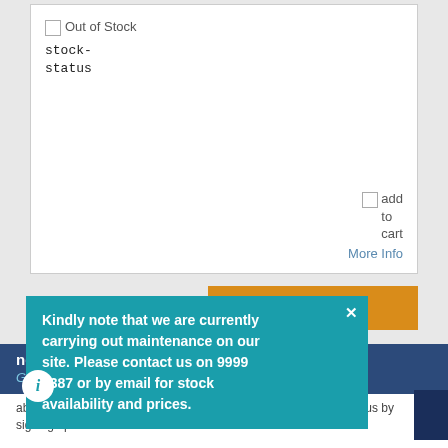Out of Stock
stock-status
add to cart
More Info
elated items >
Kindly note that we are currently carrying out maintenance on our site. Please contact us on 9999 0387 or by email for stock availability and prices.
newsletter
Get to ... items. Learn about our latest offers and find out how you can get the best from us by signing up below: